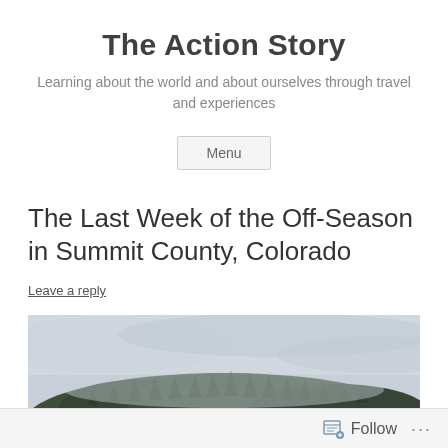The Action Story
Learning about the world and about ourselves through travel and experiences
Menu
The Last Week of the Off-Season in Summit County, Colorado
Leave a reply
[Figure (photo): Landscape photo showing a forested hillside with evergreen trees under an overcast, cloudy grey sky]
Follow ...